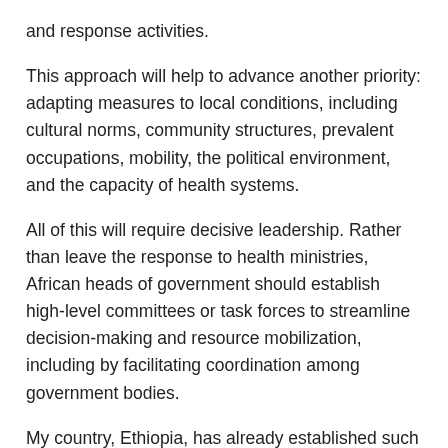and response activities.
This approach will help to advance another priority: adapting measures to local conditions, including cultural norms, community structures, prevalent occupations, mobility, the political environment, and the capacity of health systems.
All of this will require decisive leadership. Rather than leave the response to health ministries, African heads of government should establish high-level committees or task forces to streamline decision-making and resource mobilization, including by facilitating coordination among government bodies.
My country, Ethiopia, has already established such a high-level task force, and organized national diagnostic and laboratory facilities, despite having no confirmed cases.